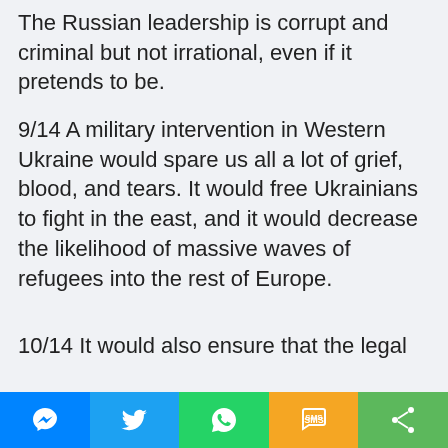The Russian leadership is corrupt and criminal but not irrational, even if it pretends to be.
9/14 A military intervention in Western Ukraine would spare us all a lot of grief, blood, and tears. It would free Ukrainians to fight in the east, and it would decrease the likelihood of massive waves of refugees into the rest of Europe.
10/14 It would also ensure that the legal